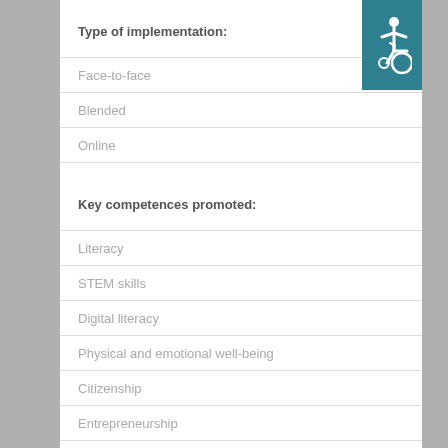Type of implementation:
Face-to-face
Blended
Online
Key competences promoted:
Literacy
STEM skills
Digital literacy
Physical and emotional well-being
Citizenship
Entrepreneurship